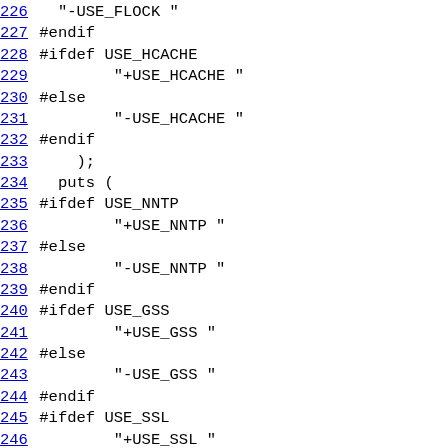226   "-USE_FLOCK "
227 #endif
228 #ifdef USE_HCACHE
229         "+USE_HCACHE "
230 #else
231         "-USE_HCACHE "
232 #endif
233     );
234   puts (
235 #ifdef USE_NNTP
236         "+USE_NNTP "
237 #else
238         "-USE_NNTP "
239 #endif
240 #ifdef USE_GSS
241         "+USE_GSS "
242 #else
243         "-USE_GSS "
244 #endif
245 #ifdef USE_SSL
246         "+USE_SSL "
247 #else
248         "-USE_SSL "
249 #endif
250 #ifdef USE_GNUTLS